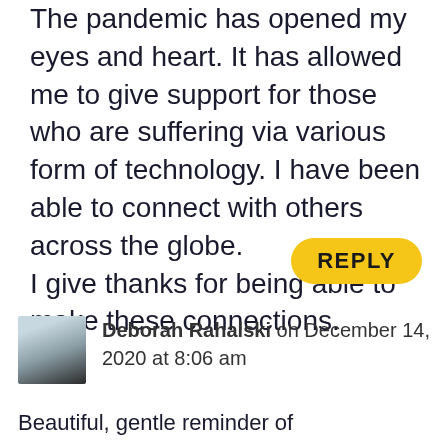The pandemic has opened my eyes and heart. It has allowed me to give support for those who are suffering via various form of technology. I have been able to connect with others across the globe. I give thanks for being able to make these connections.
REPLY
Deborah Rahalski on December 14, 2020 at 8:06 am
Beautiful, gentle reminder of